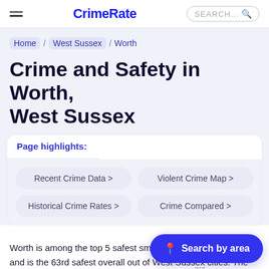CrimeRate
Home / West Sussex / Worth
Crime and Safety in Worth, West Sussex
Page highlights:
Recent Crime Data >
Violent Crime Map >
Historical Crime Rates >
Crime Compared >
Worth is among the top 5 safest small towns in West Sussex, and is the 63rd safest overall out of West Sussex cities. The overall crime rate in Worth in 2021 was 54 crimes per